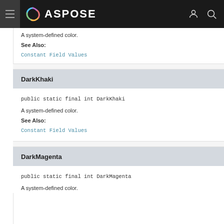ASPOSE
A system-defined color.
See Also:
Constant Field Values
DarkKhaki
public static final int DarkKhaki
A system-defined color.
See Also:
Constant Field Values
DarkMagenta
public static final int DarkMagenta
A system-defined color.